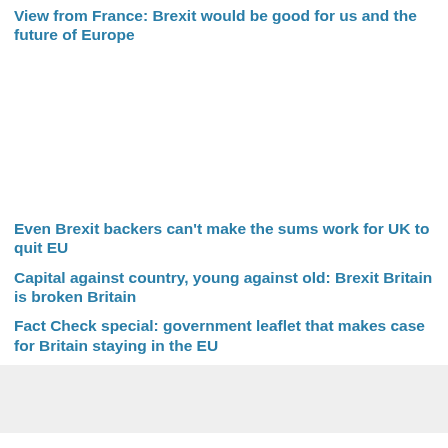View from France: Brexit would be good for us and the future of Europe
[Figure (photo): Placeholder image area, white/blank]
Even Brexit backers can't make the sums work for UK to quit EU
Capital against country, young against old: Brexit Britain is broken Britain
Fact Check special: government leaflet that makes case for Britain staying in the EU
Want to write?